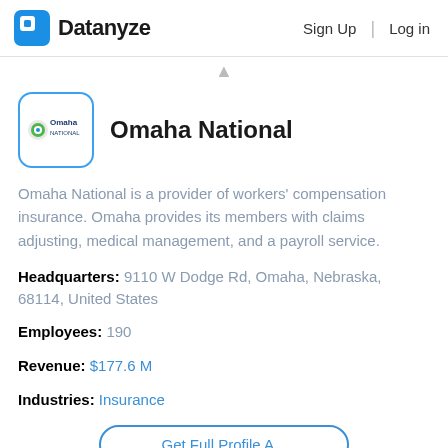Datanyze  Sign Up  Log in
Omaha National
Omaha National is a provider of workers' compensation insurance. Omaha provides its members with claims adjusting, medical management, and a payroll service.
Headquarters:  9110 W Dodge Rd, Omaha, Nebraska, 68114, United States
Employees:  190
Revenue:  $177.6 M
Industries:  Insurance